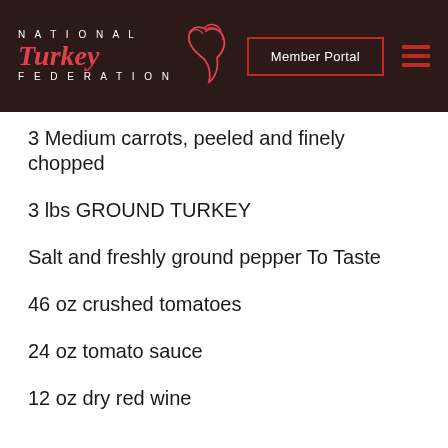NATIONAL Turkey FEDERATION | Member Portal | Menu
3 Medium carrots, peeled and finely chopped
3 lbs GROUND TURKEY
Salt and freshly ground pepper To Taste
46 oz crushed tomatoes
24 oz tomato sauce
12 oz dry red wine